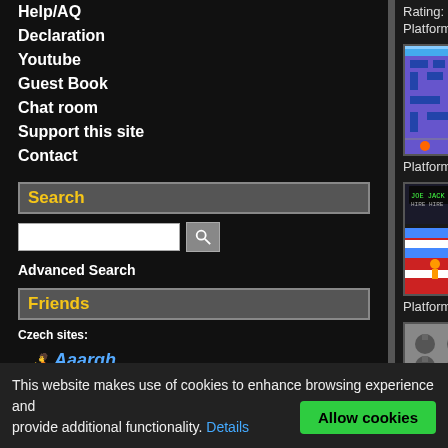Help/AQ
Declaration
Youtube
Guest Book
Chat room
Support this site
Contact
Search
Advanced Search
Friends
Czech sites:
[Figure (logo): Aaargh Games logo]
[Figure (logo): DJ OldGames download logo]
Rating: 55% (15x)
Platforms: N64
Shark Attack (Lo... Author (year): Apo... Players: 1 or 2 alte... Rating: 53% (3x) Platforms: Atari 26...
Super Dodge Ba... Author (year): Tec... Players: 1 or 2 co... Rating: 48% (4x) Platforms: NES
Atomic Punk (Be... Author (year): Hud... Players: 1 Rating: 83% (3x)
This website makes use of cookies to enhance browsing experience and provide additional functionality. Details
Allow cookies